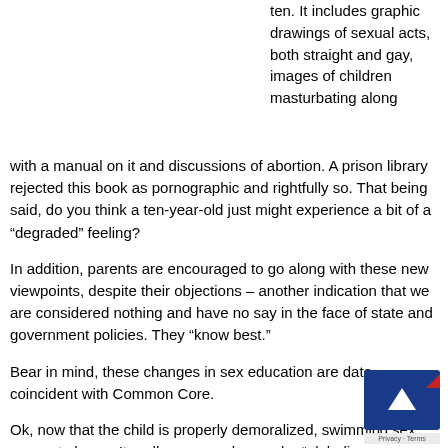ten. It includes graphic drawings of sexual acts, both straight and gay, images of children masturbating along with a manual on it and discussions of abortion. A prison library rejected this book as pornographic and rightfully so. That being said, do you think a ten-year-old just might experience a bit of a “degraded” feeling?
In addition, parents are encouraged to go along with these new viewpoints, despite their objections – another indication that we are considered nothing and have no say in the face of state and government policies. They “know best.”
Bear in mind, these changes in sex education are date-coincident with Common Core.
Ok, now that the child is properly demoralized, swimming in sex concepts he can’t really process, he can be “globaliz…